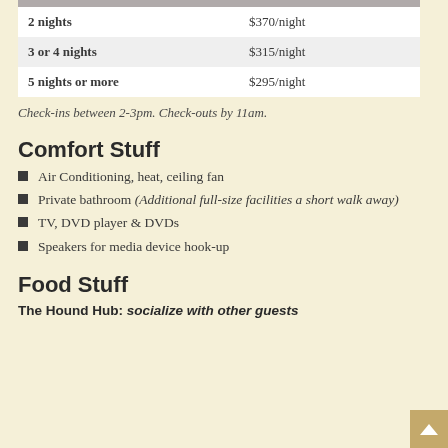| Duration | Rate |
| --- | --- |
| 2 nights | $370/night |
| 3 or 4 nights | $315/night |
| 5 nights or more | $295/night |
Check-ins between 2-3pm. Check-outs by 11am.
Comfort Stuff
Air Conditioning, heat, ceiling fan
Private bathroom (Additional full-size facilities a short walk away)
TV, DVD player & DVDs
Speakers for media device hook-up
Food Stuff
The Hound Hub: socialize with other guests